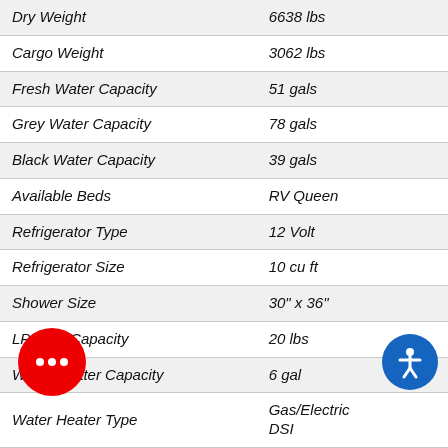| Specification | Value |
| --- | --- |
| Dry Weight | 6638 lbs |
| Cargo Weight | 3062 lbs |
| Fresh Water Capacity | 51 gals |
| Grey Water Capacity | 78 gals |
| Black Water Capacity | 39 gals |
| Available Beds | RV Queen |
| Refrigerator Type | 12 Volt |
| Refrigerator Size | 10 cu ft |
| Shower Size | 30" x 36" |
| LP Tank Capacity | 20 lbs |
| Water Heater Capacity | 6 gal |
| Water Heater Type | Gas/Electric DSI |
| e Count | 2 |
| Number of LP Tanks |  |